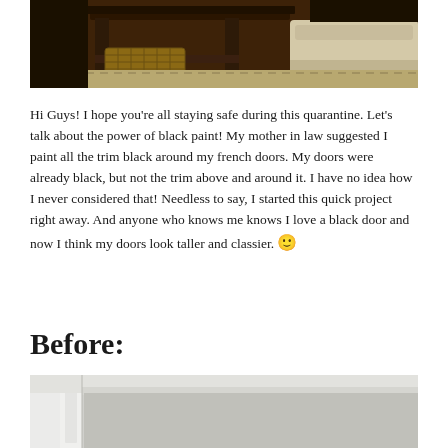[Figure (photo): Photo of a dark wood side table with a wicker basket on a lower shelf, with a light-colored sofa and patterned rug visible in the background]
Hi Guys! I hope you're all staying safe during this quarantine. Let's talk about the power of black paint! My mother in law suggested I paint all the trim black around my french doors. My doors were already black, but not the trim above and around it. I have no idea how I never considered that! Needless to say, I started this quick project right away. And anyone who knows me knows I love a black door and now I think my doors look taller and classier. 🙂
Before:
[Figure (photo): Before photo showing white trim and molding around french doors, with a chandelier visible in the background room]